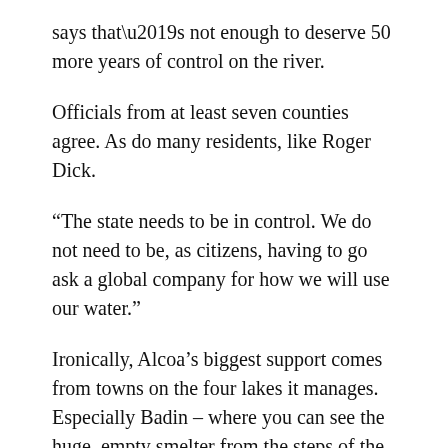says that’s not enough to deserve 50 more years of control on the river.
Officials from at least seven counties agree. As do many residents, like Roger Dick.
“The state needs to be in control. We do not need to be, as citizens, having to go ask a global company for how we will use our water.”
Ironically, Alcoa’s biggest support comes from towns on the four lakes it manages. Especially Badin – where you can see the huge, empty smelter from the steps of the mayor’s office.